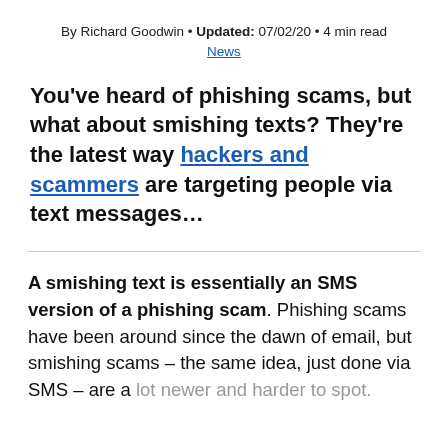By Richard Goodwin • Updated: 07/02/20 • 4 min read
News
You've heard of phishing scams, but what about smishing texts? They're the latest way hackers and scammers are targeting people via text messages…
A smishing text is essentially an SMS version of a phishing scam. Phishing scams have been around since the dawn of email, but smishing scams – the same idea, just done via SMS – are a lot newer and harder to spot.